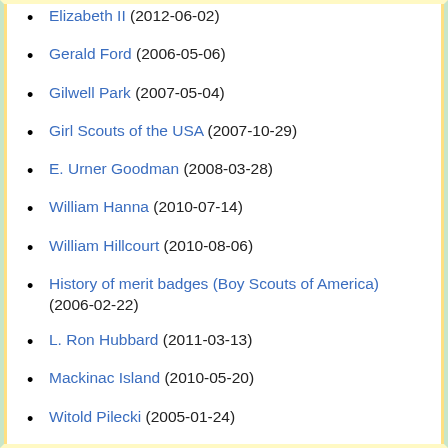Elizabeth II (2012-06-02)
Gerald Ford (2006-05-06)
Gilwell Park (2007-05-04)
Girl Scouts of the USA (2007-10-29)
E. Urner Goodman (2008-03-28)
William Hanna (2010-07-14)
William Hillcourt (2010-08-06)
History of merit badges (Boy Scouts of America) (2006-02-22)
L. Ron Hubbard (2011-03-13)
Mackinac Island (2010-05-20)
Witold Pilecki (2005-01-24)
Franklin D. Roosevelt (2006-10-13)